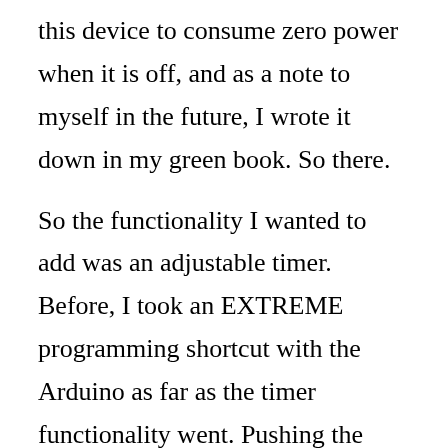this device to consume zero power when it is off, and as a note to myself in the future, I wrote it down in my green book. So there.

So the functionality I wanted to add was an adjustable timer. Before, I took an EXTREME programming shortcut with the Arduino as far as the timer functionality went. Pushing the main button automatically started the timer by turning on the Arduino, setting the system time to 0900 hours, and then